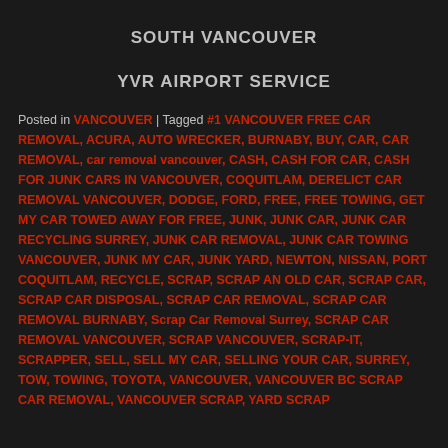SOUTH VANCOUVER
YVR AIRPORT SERVICE
Posted in VANCOUVER | Tagged #1 VANCOUVER FREE CAR REMOVAL, ACURA, AUTO WRECKER, BURNABY, BUY, CAR, CAR REMOVAL, car removal vancouver, CASH, CASH FOR CAR, CASH FOR JUNK CARS IN VANCOUVER, COQUITLAM, DERELICT CAR REMOVAL VANCOUVER, DODGE, FORD, FREE, FREE TOWING, GET MY CAR TOWED AWAY FOR FREE, JUNK, JUNK CAR, JUNK CAR RECYCLING SURREY, JUNK CAR REMOVAL, JUNK CAR TOWING VANCOUVER, JUNK MY CAR, JUNK YARD, NEWTON, NISSAN, PORT COQUITLAM, RECYCLE, SCRAP, SCRAP AN OLD CAR, SCRAP CAR, SCRAP CAR DISPOSAL, SCRAP CAR REMOVAL, SCRAP CAR REMOVAL BURNABY, Scrap Car Removal Surrey, SCRAP CAR REMOVAL VANCOUVER, SCRAP VANCOUVER, SCRAP-IT, SCRAPPER, SELL, SELL MY CAR, SELLING YOUR CAR, SURREY, TOW, TOWING, TOYOTA, VANCOUVER, VANCOUVER BC SCRAP CAR REMOVAL, VANCOUVER SCRAP, YARD SCRAP